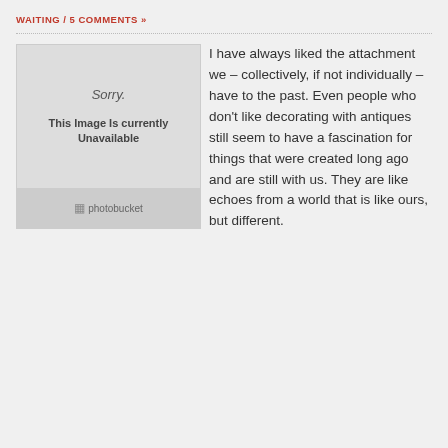WAITING / 5 COMMENTS »
[Figure (photo): Image placeholder showing 'Sorry. This Image Is currently Unavailable' with Photobucket branding at the bottom]
I have always liked the attachment we – collectively, if not individually – have to the past. Even people who don't like decorating with antiques still seem to have a fascination for things that were created long ago and are still with us. They are like echoes from a world that is like ours, but different.